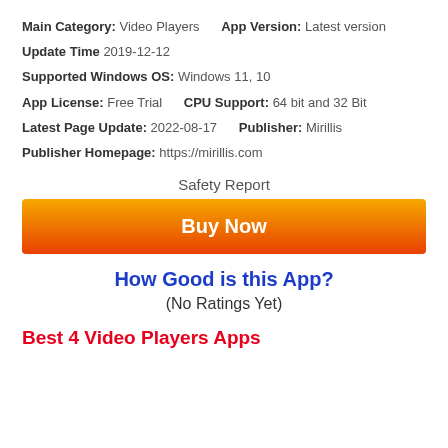Main Category: Video Players    App Version: Latest version
Update Time 2019-12-12
Supported Windows OS: Windows 11, 10
App License: Free Trial    CPU Support: 64 bit and 32 Bit
Latest Page Update: 2022-08-17    Publisher: Mirillis
Publisher Homepage: https://mirillis.com
Safety Report
[Figure (other): Orange gradient Buy Now button]
How Good is this App?
(No Ratings Yet)
Best 4 Video Players Apps